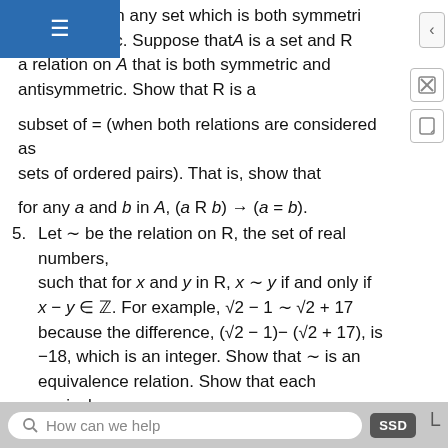s a relation on any set which is both symmetric and antisymmetric. Suppose that A is a set and R a relation on A that is both symmetric and antisymmetric. Show that R is a subset of = (when both relations are considered as sets of ordered pairs). That is, show that for any a and b in A, (a R b) → (a = b).
5. Let ~ be the relation on R, the set of real numbers, such that for x and y in R, x ~ y if and only if x − y ∈ ℤ. For example, √2 − 1 ~ √2 + 17 because the difference, (√2 − 1)− (√2 + 17), is −18, which is an integer. Show that ~ is an equivalence relation. Show that each equivalence class [x]~ contains exactly one number a which satisfies 0 ≤ a < 1. (Thus, the set of equivalence
How can we help | SSD